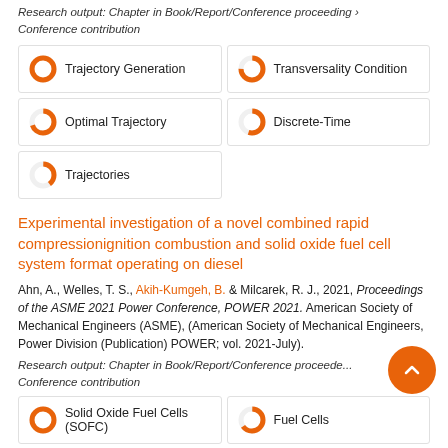Research output: Chapter in Book/Report/Conference proceeding › Conference contribution
[Figure (infographic): Five keyword badges arranged in a 2-column grid with donut-style percentage icons: Trajectory Generation (100%), Transversality Condition (~75%), Optimal Trajectory (~70%), Discrete-Time (~55%), Trajectories (~40%)]
Experimental investigation of a novel combined rapid compressionignition combustion and solid oxide fuel cell system format operating on diesel
Ahn, A., Welles, T. S., Akih-Kumgeh, B. & Milcarek, R. J., 2021, Proceedings of the ASME 2021 Power Conference, POWER 2021. American Society of Mechanical Engineers (ASME), (American Society of Mechanical Engineers, Power Division (Publication) POWER; vol. 2021-July).
Research output: Chapter in Book/Report/Conference proceeding › Conference contribution
[Figure (infographic): Two keyword badges: Solid Oxide Fuel Cells (SOFC) at 100%, Fuel Cells at ~65%]